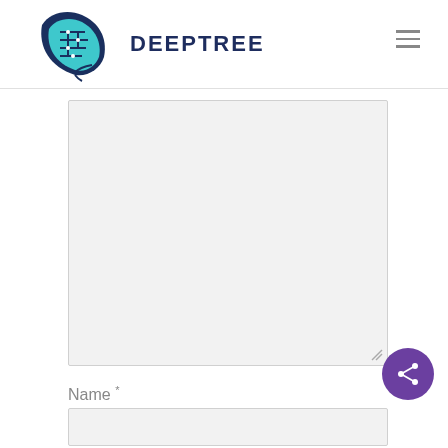DEEPTREE
[Figure (screenshot): Large empty textarea input field with light gray background and resize handle in bottom-right corner]
Name *
[Figure (screenshot): Name text input field, empty, with light gray background]
[Figure (other): Purple circular share button with share icon (three connected dots)]